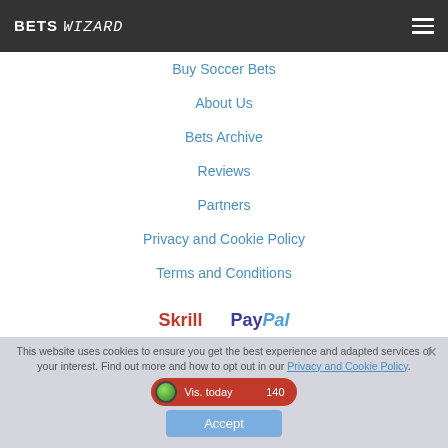BETS WIZARD
Buy Soccer Bets
About Us
Bets Archive
Reviews
Partners
Privacy and Cookie Policy
Terms and Conditions
Contact Us
[Figure (logo): Skrill and PayPal payment logos]
This website uses cookies to ensure you get the best experience and adapted services of your interest. Find out more and how to opt out in our Privacy and Cookie Policy.
Vis. today  140
Accept